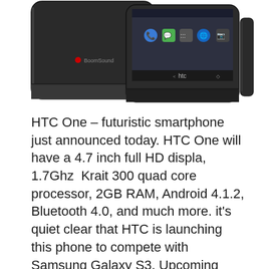[Figure (photo): HTC One smartphone shown from front and side angles against white background]
HTC One – futuristic smartphone just announced today. HTC One will have a 4.7 inch full HD displa, 1.7Ghz  Krait 300 quad core processor, 2GB RAM, Android 4.1.2, Bluetooth 4.0, and much more. it's quiet clear that HTC is launching this phone to compete with Samsung Galaxy S3, Upcoming Galaxy S4 and Sony Xperia Z. Due to that HTC included HDR […]
February 24, 2013